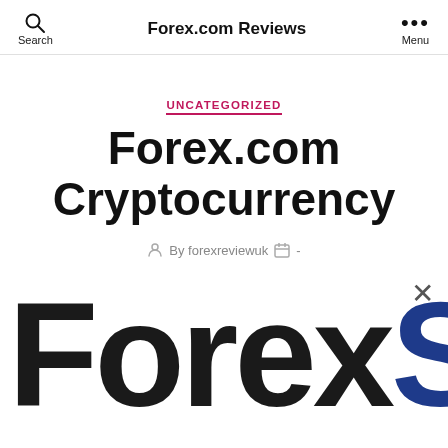Forex.com Reviews
UNCATEGORIZED
Forex.com Cryptocurrency
By forexreviewuk  -
[Figure (logo): Large ForexS logo text — 'Forex' in dark/black and 'S' in dark blue, cropped at right edge]